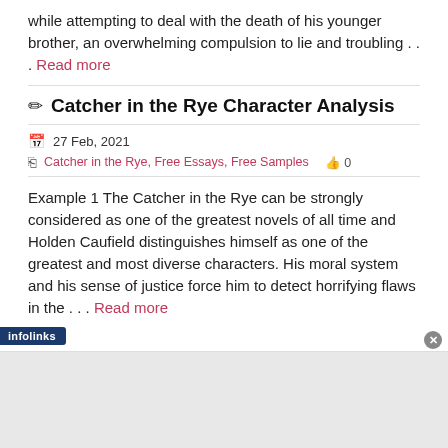while attempting to deal with the death of his younger brother, an overwhelming compulsion to lie and troubling . . . Read more
✎ Catcher in the Rye Character Analysis
27 Feb, 2021
Catcher in the Rye, Free Essays, Free Samples   👍 0
Example 1 The Catcher in the Rye can be strongly considered as one of the greatest novels of all time and Holden Caufield distinguishes himself as one of the greatest and most diverse characters. His moral system and his sense of justice force him to detect horrifying flaws in the . . . Read more
infolinks